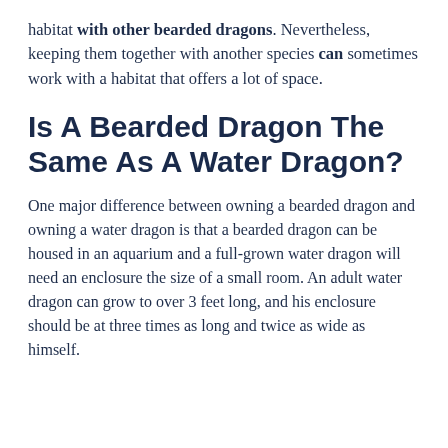habitat with other bearded dragons. Nevertheless, keeping them together with another species can sometimes work with a habitat that offers a lot of space.
Is A Bearded Dragon The Same As A Water Dragon?
One major difference between owning a bearded dragon and owning a water dragon is that a bearded dragon can be housed in an aquarium and a full-grown water dragon will need an enclosure the size of a small room. An adult water dragon can grow to over 3 feet long, and his enclosure should be at three times as long and twice as wide as himself.